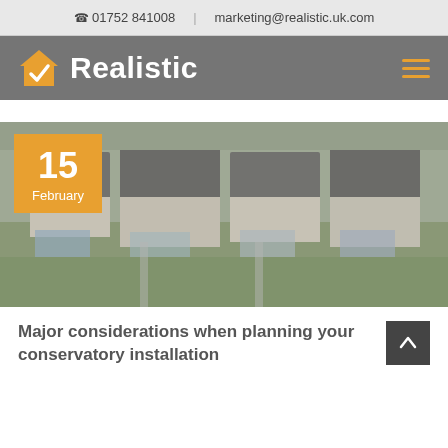☎ 01752 841008 | marketing@realistic.uk.com
[Figure (logo): Realistic company logo with orange house icon and checkmark, white bold text 'Realistic' on grey navbar, hamburger menu icon on right]
[Figure (photo): Aerial drone photograph of a row of residential UK houses with conservatories visible on back garden extensions, showing rooftops, gardens and driveways. Orange date badge overlay showing '15 February'.]
Major considerations when planning your conservatory installation